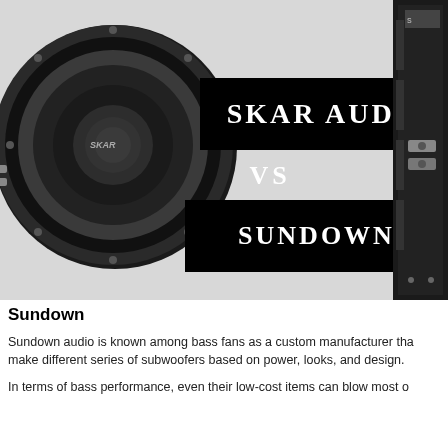[Figure (photo): Composite image showing a Skar Audio subwoofer on the left and a car amplifier on the right, with two black banner strips in the middle displaying 'SKAR AUDIO VS SUNDOWN' text in serif white letters on a light gray background.]
Sundown
Sundown audio is known among bass fans as a custom manufacturer tha make different series of subwoofers based on power, looks, and design.
In terms of bass performance, even their low-cost items can blow most o